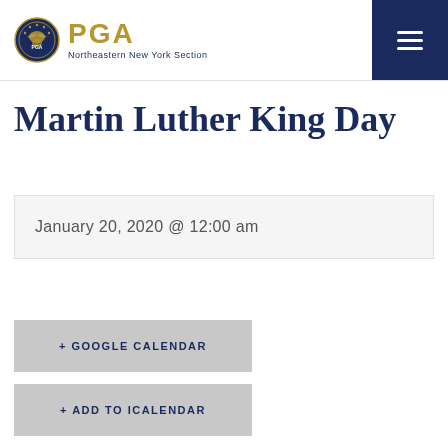PGA Northeastern New York Section
Martin Luther King Day
January 20, 2020 @ 12:00 am
+ GOOGLE CALENDAR
+ ADD TO ICALENDAR